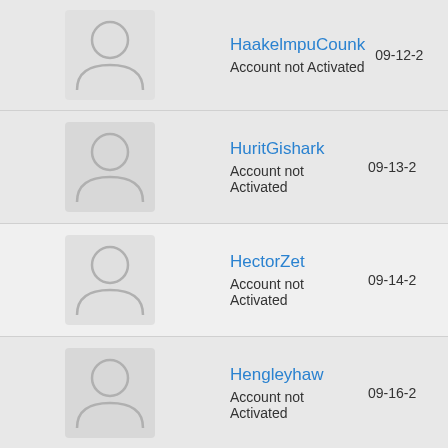HaakelmpuCounk
Account not Activated
09-12-2
HuritGishark
Account not Activated
09-13-2
HectorZet
Account not Activated
09-14-2
Hengleyhaw
Account not Activated
09-16-2
HatlodElodeno
Account not Activated
09-16-2
HernandoTex
Account not Activated
09-16-2